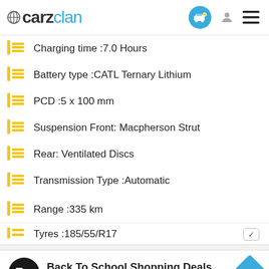carzclan
Charging time :7.0 Hours
Battery type :CATL Ternary Lithium
PCD :5 x 100 mm
Suspension Front: Macpherson Strut
Rear: Ventilated Discs
Transmission Type :Automatic
Range :335 km
Tyres :185/55/R17
Back To School Shopping Deals
Leesburg Premium Outlets